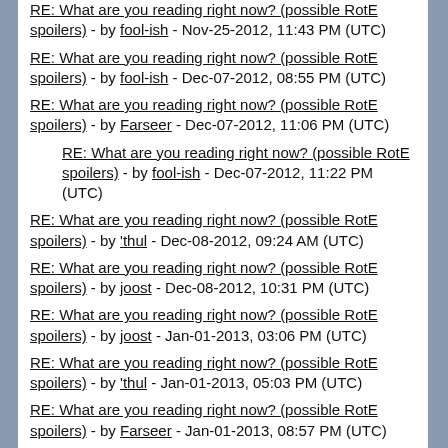RE: What are you reading right now? (possible RotE spoilers) - by fool-ish - Nov-25-2012, 11:43 PM (UTC)
RE: What are you reading right now? (possible RotE spoilers) - by fool-ish - Dec-07-2012, 08:55 PM (UTC)
RE: What are you reading right now? (possible RotE spoilers) - by Farseer - Dec-07-2012, 11:06 PM (UTC)
RE: What are you reading right now? (possible RotE spoilers) - by fool-ish - Dec-07-2012, 11:22 PM (UTC)
RE: What are you reading right now? (possible RotE spoilers) - by 'thul - Dec-08-2012, 09:24 AM (UTC)
RE: What are you reading right now? (possible RotE spoilers) - by joost - Dec-08-2012, 10:31 PM (UTC)
RE: What are you reading right now? (possible RotE spoilers) - by joost - Jan-01-2013, 03:06 PM (UTC)
RE: What are you reading right now? (possible RotE spoilers) - by 'thul - Jan-01-2013, 05:03 PM (UTC)
RE: What are you reading right now? (possible RotE spoilers) - by Farseer - Jan-01-2013, 08:57 PM (UTC)
RE: What are you reading right now? (possible RotE spoilers) - by Valarya - Jan-06-2013, 03:17 AM (UTC)
RE: What are you reading right now? (possible RotE spoilers)